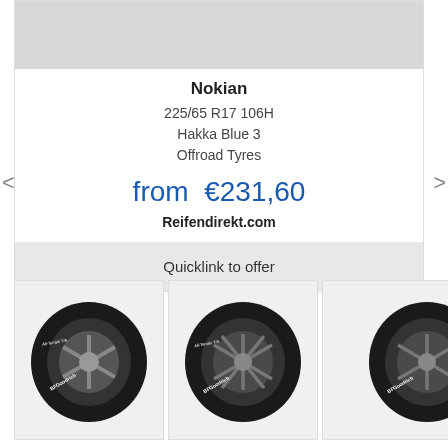[Figure (photo): Product card image placeholder (grey rectangle) for Nokian tyre]
Nokian
225/65 R17 106H
Hakka Blue 3
Offroad Tyres
from  €231,60
Reifendirekt.com
Quicklink to offer
[Figure (photo): BFGoodrich All-Terrain T/A tyre with dark alloy wheel, front view]
[Figure (photo): BFGoodrich All-Terrain T/A tyre with dark multi-spoke alloy wheel, front view]
[Figure (photo): BFGoodrich tyre partial view, cropped on right edge]